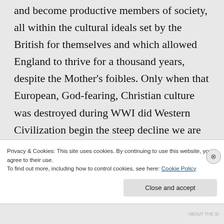and become productive members of society, all within the cultural ideals set by the British for themselves and which allowed England to thrive for a thousand years, despite the Mother's foibles. Only when that European, God-fearing, Christian culture was destroyed during WWI did Western Civilization begin the steep decline we are witnessing today.
Privacy & Cookies: This site uses cookies. By continuing to use this website, you agree to their use.
To find out more, including how to control cookies, see here: Cookie Policy
Close and accept
ABOUT THE SI